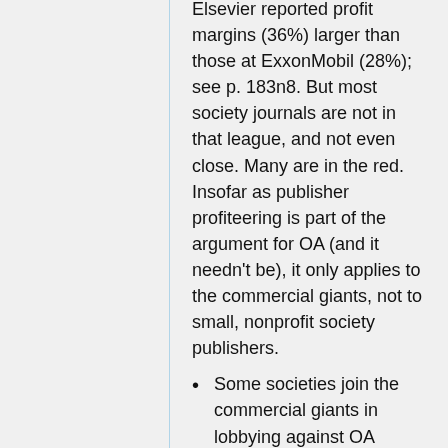Elsevier reported profit margins (36%) larger than those at ExxonMobil (28%); see p. 183n8. But most society journals are not in that league, and not even close. Many are in the red. Insofar as publisher profiteering is part of the argument for OA (and it needn't be), it only applies to the commercial giants, not to small, nonprofit society publishers.
Some societies join the commercial giants in lobbying against OA policies, and argue that OA is intrinsically harmful to society publishers, or that OA harms small nonprofit publishers as such. I make many concessions to society